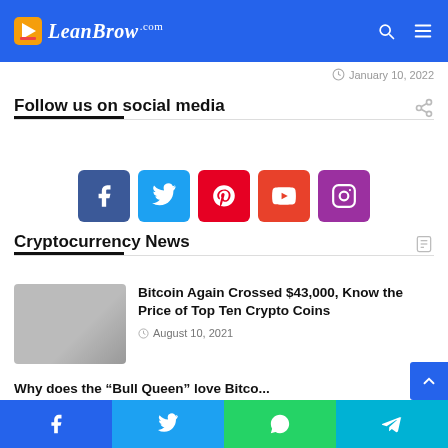LeanBrow.com navigation bar
January 10, 2022
Follow us on social media
[Figure (infographic): Social media icon buttons: Facebook (blue), Twitter (cyan), Pinterest (red), YouTube (red-orange), Instagram (purple)]
Cryptocurrency News
Bitcoin Again Crossed $43,000, Know the Price of Top Ten Crypto Coins
August 10, 2021
Why does the “Bull Queen” love Bitcoin? Can it reach the $500,000 mark?
Social share bar: Facebook, Twitter, WhatsApp, Telegram